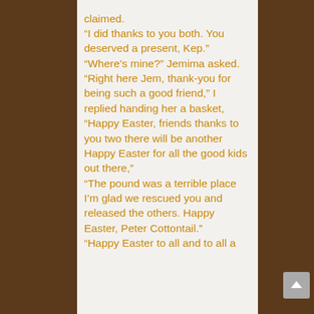claimed. “I did thanks to you both. You deserved a present, Kep.” “Where’s mine?” Jemima asked. “Right here Jem, thank-you for being such a good friend,” I replied handing her a basket, “Happy Easter, friends thanks to you two there will be another Happy Easter for all the good kids out there,” “The pound was a terrible place I’m glad we rescued you and released the others. Happy Easter, Peter Cottontail.” “Happy Easter to all and to all a good day.”